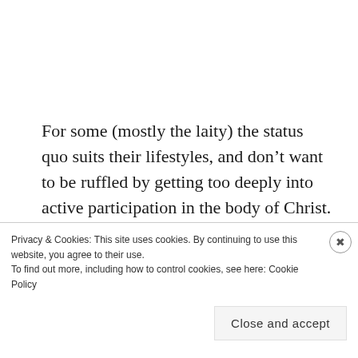For some (mostly the laity) the status quo suits their lifestyles, and don’t want to be ruffled by getting too deeply into active participation in the body of Christ. After all, “that’s the pastor’s work, right”?
For others (especially the clergy), that is all they know to do, some having even attained PhDs in theology. Its the source of their daily bread. They
Privacy & Cookies: This site uses cookies. By continuing to use this website, you agree to their use.
To find out more, including how to control cookies, see here: Cookie Policy
Close and accept